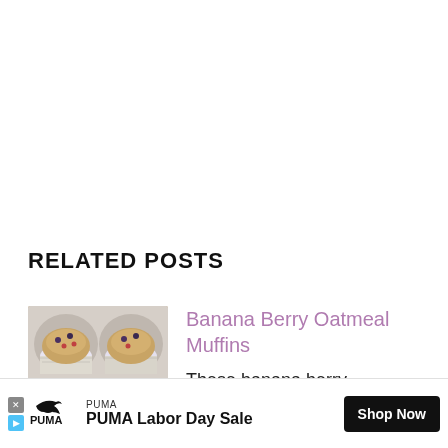RELATED POSTS
[Figure (photo): Overhead photo of banana berry oatmeal muffins in paper cups arranged in a muffin tin]
Banana Berry Oatmeal Muffins
These banana berry
[Figure (other): PUMA Labor Day Sale advertisement banner with PUMA logo, Shop Now button, and close/skip icons]